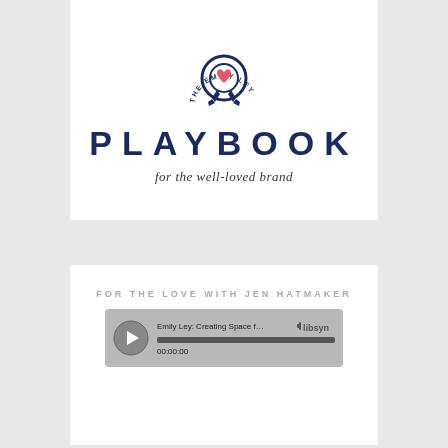[Figure (logo): The Emily Ley logo — a ribbon/badge with a heart center and arched text reading 'THE EMILY LEY' around the top]
PLAYBOOK
for the well-loved brand
FOR THE LOVE WITH JEN HATMAKER
[Figure (screenshot): Audio player widget showing 'Emily Ley: Creating Space for Joy with S...' with a play button, progress bar at 00:00:00, and Libsyn logo]